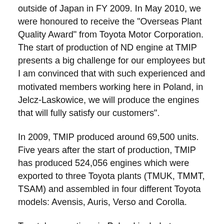outside of Japan in FY 2009. In May 2010, we were honoured to receive the "Overseas Plant Quality Award" from Toyota Motor Corporation. The start of production of ND engine at TMIP presents a big challenge for our employees but I am convinced that with such experienced and motivated members working here in Poland, in Jelcz-Laskowice, we will produce the engines that will fully satisfy our customers".
In 2009, TMIP produced around 69,500 units. Five years after the start of production, TMIP has produced 524,056 engines which were exported to three Toyota plants (TMUK, TMMT, TSAM) and assembled in four different Toyota models: Avensis, Auris, Verso and Corolla.
Toyota's operations in Poland include two manufacturing sites — TMIP and Toyota Motor Manufacturing Poland located in Walbrzych. TMIP started the operation in March 2005 with 2.0 and 2.2 litre diesel engines. TMMP currently produces